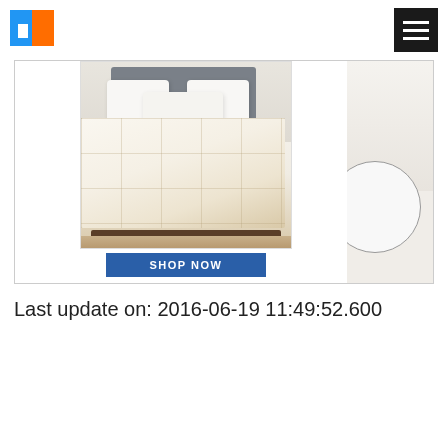[Figure (logo): App icon logo with blue and orange squares forming a grid pattern]
[Figure (screenshot): Website screenshot showing a white down comforter on a bed with a SHOP NOW button below]
Last update on: 2016-06-19 11:49:52.600